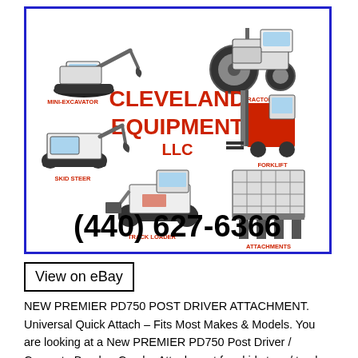[Figure (logo): Cleveland Equipment LLC logo with illustrations of mini-excavator, tractor, skid steer, forklift, track loader, attachments, and phone number (440) 627-6366, inside a blue border rectangle]
View on eBay
NEW PREMIER PD750 POST DRIVER ATTACHMENT. Universal Quick Attach – Fits Most Makes & Models. You are looking at a New PREMIER PD750 Post Driver / Concrete Breaker Combo Attachment for skid steer / track loaders and utility tractors. Drive fence posts, sign posts, guard rails, median dividers and various